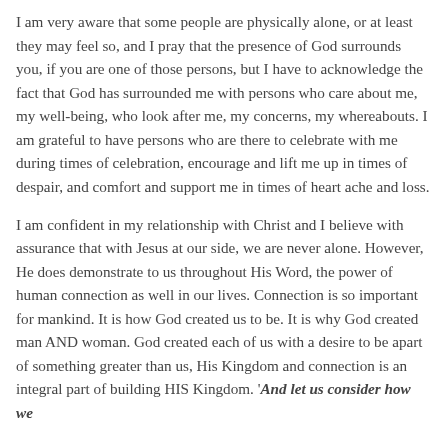I am very aware that some people are physically alone, or at least they may feel so, and I pray that the presence of God surrounds you, if you are one of those persons, but I have to acknowledge the fact that God has surrounded me with persons who care about me, my well-being, who look after me, my concerns, my whereabouts. I am grateful to have persons who are there to celebrate with me during times of celebration, encourage and lift me up in times of despair, and comfort and support me in times of heart ache and loss.
I am confident in my relationship with Christ and I believe with assurance that with Jesus at our side, we are never alone. However, He does demonstrate to us throughout His Word, the power of human connection as well in our lives. Connection is so important for mankind. It is how God created us to be. It is why God created man AND woman. God created each of us with a desire to be apart of something greater than us, His Kingdom and connection is an integral part of building HIS Kingdom. 'And let us consider how we